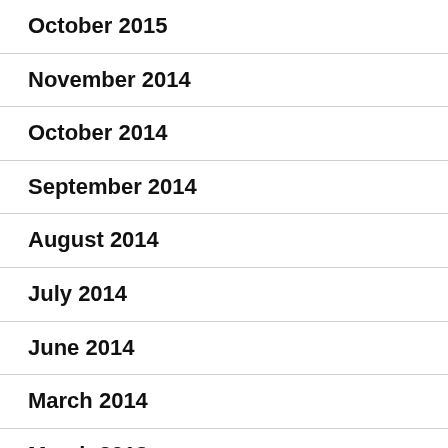October 2015
November 2014
October 2014
September 2014
August 2014
July 2014
June 2014
March 2014
March 2013